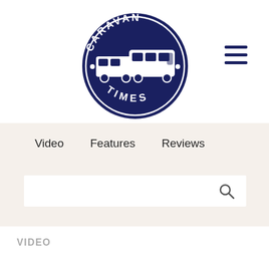[Figure (logo): Caravan Times circular logo with dark navy blue background, showing caravan and motorhome vehicles, with text CARAVAN on top arc and TIMES on bottom arc]
[Figure (other): Hamburger menu icon with three horizontal dark navy lines]
Video   Features   Reviews
[Figure (other): Search bar input field with search magnifying glass icon]
VIDEO